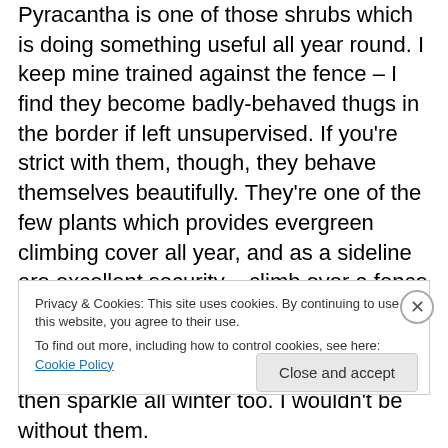Pyracantha is one of those shrubs which is doing something useful all year round. I keep mine trained against the fence – I find they become badly-behaved thugs in the border if left unsupervised. If you're strict with them, though, they behave themselves beautifully. They're one of the few plants which provides evergreen climbing cover all year, and as a sideline are excellent security – climb over a fence clad in pyracantha and you won't forget it in a hurry. As if that wasn't enough, they froth up with flowers in early summer and then sparkle all winter too. I wouldn't be without them.
Privacy & Cookies: This site uses cookies. By continuing to use this website, you agree to their use. To find out more, including how to control cookies, see here: Cookie Policy